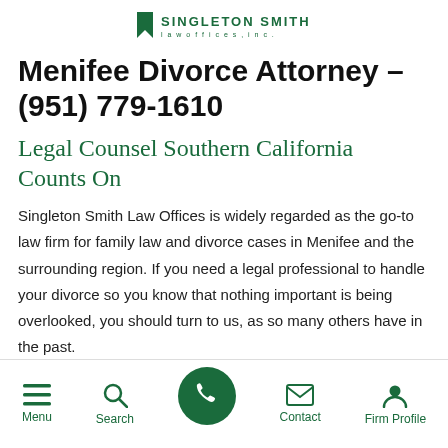SINGLETON SMITH law offices, inc.
Menifee Divorce Attorney – (951) 779-1610
Legal Counsel Southern California Counts On
Singleton Smith Law Offices is widely regarded as the go-to law firm for family law and divorce cases in Menifee and the surrounding region. If you need a legal professional to handle your divorce so you know that nothing important is being overlooked, you should turn to us, as so many others have in the past.
Menu Search Contact Firm Profile